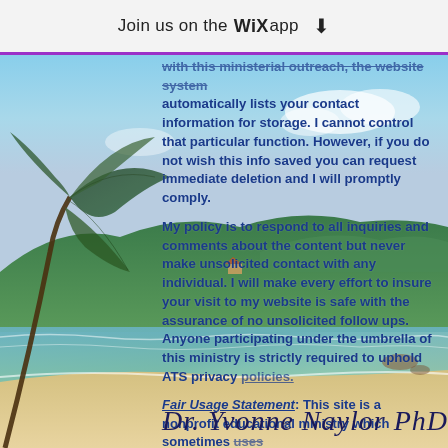Join us on the WiX app ⬇
with this ministerial outreach, the website system automatically lists your contact information for storage. I cannot control that particular function. However, if you do not wish this info saved you can request immediate deletion and I will promptly comply.
My policy is to respond to all inquiries and comments about the content but never make unsolicited contact with any individual. I will make every effort to insure your visit to my website is safe with the assurance of no unsolicited follow ups. Anyone participating under the umbrella of this ministry is strictly required to uphold ATS privacy policies.
Fair Usage Statement: This site is a nonprofit educational ministry which sometimes uses materials not original to this site under the Fair Usage Act of the United States Copyright Law -Title 17 U.S.C. section 107.
[Figure (photo): Beach scene background with tropical palm leaves in foreground, ocean, hills/mountains, blue sky with clouds, and sandy beach in lower portion.]
Dr. Yvonne Naylor PhD (signature)